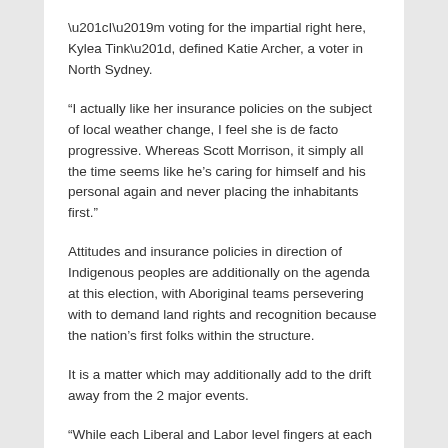“I’m voting for the impartial right here, Kylea Tink”, defined Katie Archer, a voter in North Sydney.
“I actually like her insurance policies on the subject of local weather change, I feel she is de facto progressive. Whereas Scott Morrison, it simply all the time seems like he’s caring for himself and his personal again and never placing the inhabitants first.”
Attitudes and insurance policies in direction of Indigenous peoples are additionally on the agenda at this election, with Aboriginal teams persevering with to demand land rights and recognition because the nation’s first folks within the structure.
It is a matter which may additionally add to the drift away from the 2 major events.
“While each Liberal and Labor level fingers at each other over who’s doing the least for First Nations folks, the minor events akin to The Greens and the newly fashioned